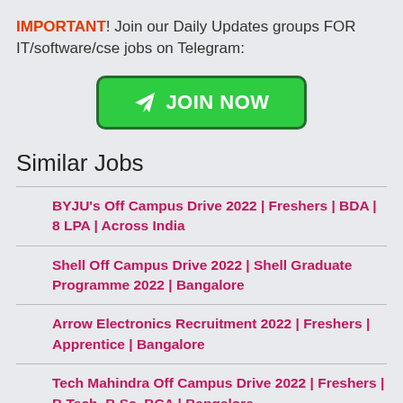IMPORTANT! Join our Daily Updates groups FOR IT/software/cse jobs on Telegram:
[Figure (other): Green JOIN NOW button with Telegram paper plane icon]
Similar Jobs
BYJU's Off Campus Drive 2022 | Freshers | BDA | 8 LPA | Across India
Shell Off Campus Drive 2022 | Shell Graduate Programme 2022 | Bangalore
Arrow Electronics Recruitment 2022 | Freshers | Apprentice | Bangalore
Tech Mahindra Off Campus Drive 2022 | Freshers | B.Tech, B.Sc, BCA | Bangalore
India's Biggest Online Test | 1000+ Openings |